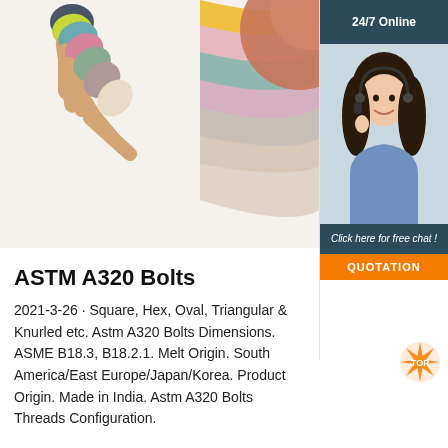[Figure (photo): Colorful silicone-tipped wooden spoons/paddles fanned out on white background, multiple colors including dark gray, yellow, pink, sage green, mauve, cream]
[Figure (photo): 24/7 online customer service representative - woman with headset smiling, wearing blue shirt, on dark teal background header and footer panel with 'Click here for free chat!' text and orange QUOTATION button]
ASTM A320 Bolts
2021-3-26 · Square, Hex, Oval, Triangular & Knurled etc. Astm A320 Bolts Dimensions. ASME B18.3, B18.2.1. Melt Origin. South America/East Europe/Japan/Korea. Product Origin. Made in India. Astm A320 Bolts Threads Configuration.